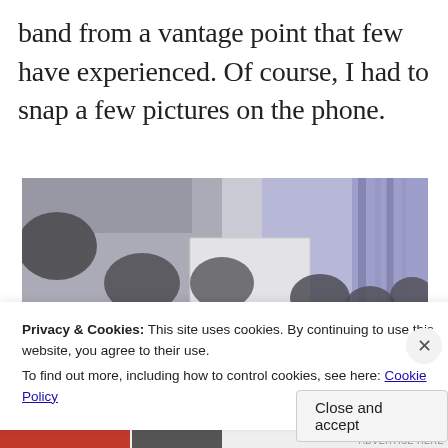band from a vantage point that few have experienced. Of course, I had to snap a few pictures on the phone.
[Figure (photo): Blurry phone photo taken from a high vantage point showing stage lighting rigs with multiple spotlight fixtures mounted on trusses, viewed from above or behind the stage. Purple/blue lighting visible on the right side, a large screen or projection surface in the center, and the back of a performer's head at bottom right. Dark circular speaker or lighting fixtures hang from the ceiling on the left.]
Privacy & Cookies: This site uses cookies. By continuing to use this website, you agree to their use.
To find out more, including how to control cookies, see here: Cookie Policy
Close and accept